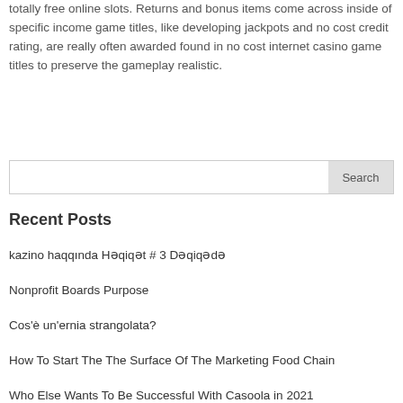totally free online slots. Returns and bonus items come across inside of specific income game titles, like developing jackpots and no cost credit rating, are really often awarded found in no cost internet casino game titles to preserve the gameplay realistic.
Search
Recent Posts
kazino haqqında Həqiqət # 3 Dəqiqədə
Nonprofit Boards Purpose
Cos'è un'ernia strangolata?
How To Start The The Surface Of The Marketing Food Chain
Who Else Wants To Be Successful With Casoola in 2021